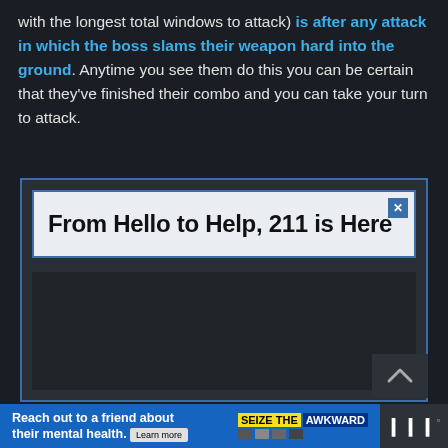with the longest total windows to attack) is after any attack in which the boss slams their weapon hard into the ground. Anytime you see them do this you can be certain that they've finished their combo and you can take your turn to attack.
[Figure (screenshot): Advertisement box with dark background showing 'From Hello to Help, 211 is Here' in a light blue-bordered white box with an X close button, and a dark content area below]
[Figure (screenshot): Bottom banner advertisement: 'Reach out to a friend about their mental health. Learn more' with 'SEIZE THE AWKWARD' branding and ad icons, and a Tidal app icon section on the right]